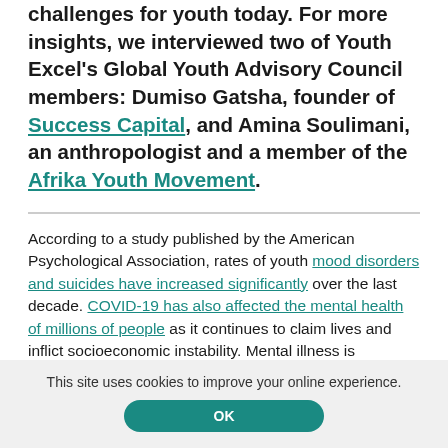challenges for youth today. For more insights, we interviewed two of Youth Excel's Global Youth Advisory Council members: Dumiso Gatsha, founder of Success Capital, and Amina Soulimani, an anthropologist and a member of the Afrika Youth Movement.
According to a study published by the American Psychological Association, rates of youth mood disorders and suicides have increased significantly over the last decade. COVID-19 has also affected the mental health of millions of people as it continues to claim lives and inflict socioeconomic instability. Mental illness is especially prevalent in East Africa and southern Africa: 15 African countries are among the top 30 for suicide per 100,000 people.
This site uses cookies to improve your online experience.